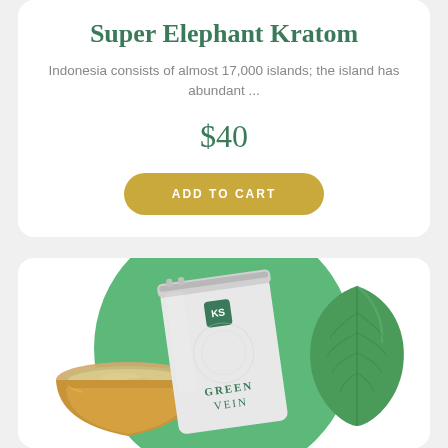Super Elephant Kratom
Indonesia consists of almost 17,000 islands; the island has abundant ...
$40
ADD TO CART
[Figure (photo): Product photo showing a green pouch bag labeled GREEN VEIN, a wooden bowl with kratom powder, a large green leaf, and a green circular background element]